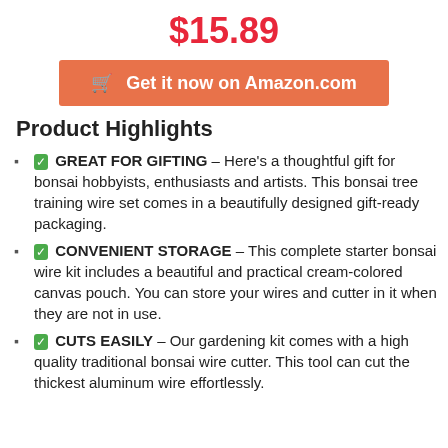$15.89
Get it now on Amazon.com
Product Highlights
✅ GREAT FOR GIFTING – Here's a thoughtful gift for bonsai hobbyists, enthusiasts and artists. This bonsai tree training wire set comes in a beautifully designed gift-ready packaging.
✅ CONVENIENT STORAGE – This complete starter bonsai wire kit includes a beautiful and practical cream-colored canvas pouch. You can store your wires and cutter in it when they are not in use.
✅ CUTS EASILY – Our gardening kit comes with a high quality traditional bonsai wire cutter. This tool can cut the thickest aluminum wire effortlessly.